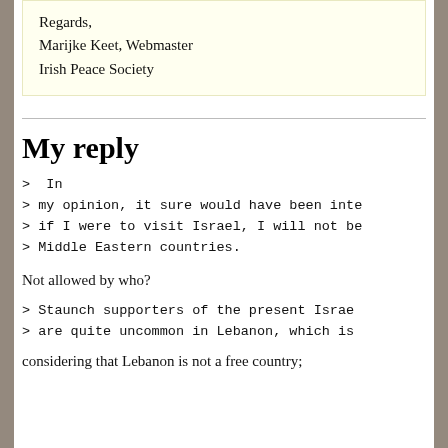Regards,
Marijke Keet, Webmaster
Irish Peace Society
My reply
>  In
> my opinion, it sure would have been inte
> if I were to visit Israel, I will not be
> Middle Eastern countries.
Not allowed by who?
> Staunch supporters of the present Israe
> are quite uncommon in Lebanon, which is
considering that Lebanon is not a free country;